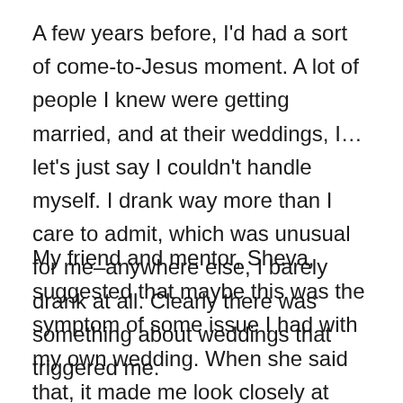A few years before, I'd had a sort of come-to-Jesus moment. A lot of people I knew were getting married, and at their weddings, I… let's just say I couldn't handle myself. I drank way more than I care to admit, which was unusual for me–anywhere else, I barely drank at all. Clearly there was something about weddings that triggered me.
My friend and mentor, Sheva, suggested that maybe this was the symptom of some issue I had with my own wedding. When she said that, it made me look closely at what I was hiding. There were things I needed to be